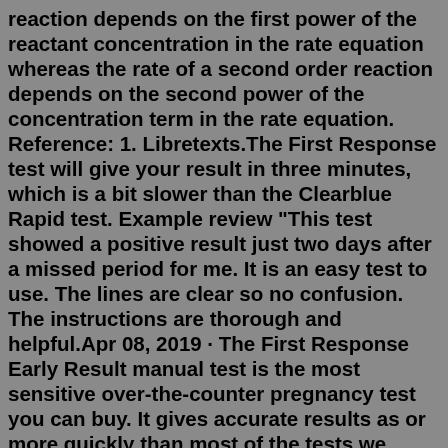reaction depends on the first power of the reactant concentration in the rate equation whereas the rate of a second order reaction depends on the second power of the concentration term in the rate equation. Reference: 1. Libretexts.The First Response test will give your result in three minutes, which is a bit slower than the Clearblue Rapid test. Example review "This test showed a positive result just two days after a missed period for me. It is an easy test to use. The lines are clear so no confusion. The instructions are thorough and helpful.Apr 08, 2019 · The First Response Early Result manual test is the most sensitive over-the-counter pregnancy test you can buy. It gives accurate results as or more quickly than most of the tests we considered and ... My last blood draw on April 1st was 11. I am currently 10dpo and I have tested with two FRER and two equate early response test all faint positive. I used a cheap dollar tonight (not holding urine) and it was negative. I know I should have waited...May 20, 2020 · Memory cells can survive for decades, participating in response to the